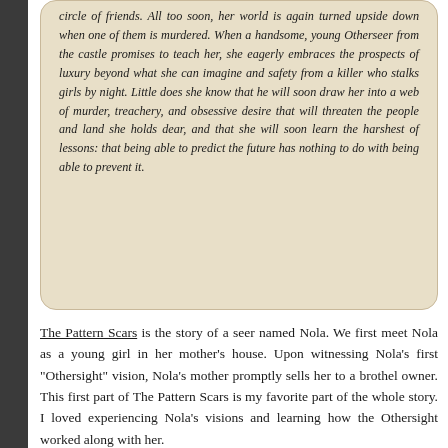circle of friends. All too soon, her world is again turned upside down when one of them is murdered. When a handsome, young Otherseer from the castle promises to teach her, she eagerly embraces the prospects of luxury beyond what she can imagine and safety from a killer who stalks girls by night. Little does she know that he will soon draw her into a web of murder, treachery, and obsessive desire that will threaten the people and land she holds dear, and that she will soon learn the harshest of lessons: that being able to predict the future has nothing to do with being able to prevent it.
The Pattern Scars is the story of a seer named Nola. We first meet Nola as a young girl in her mother's house. Upon witnessing Nola's first "Othersight" vision, Nola's mother promptly sells her to a brothel owner. This first part of The Pattern Scars is my favorite part of the whole story. I loved experiencing Nola's visions and learning how the Othersight worked along with her.
The Pattern Scars continues to follow Nola's story over a large span of time, and we also get to know all the men and women in